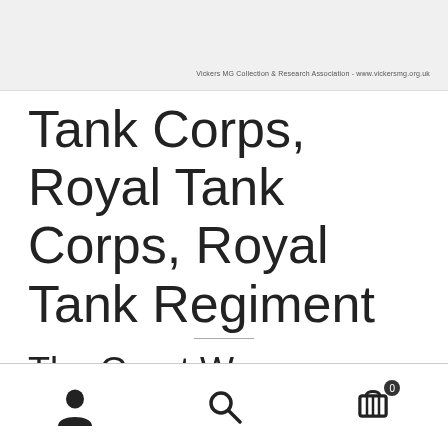[Figure (photo): Partial image visible at top of page, appears to be a historical photograph related to Tank Corps. Watermark text: Vickers MG Collection & Research Association - www.vickersmg.org.uk]
Tank Corps, Royal Tank Corps, Royal Tank Regiment
The Great War